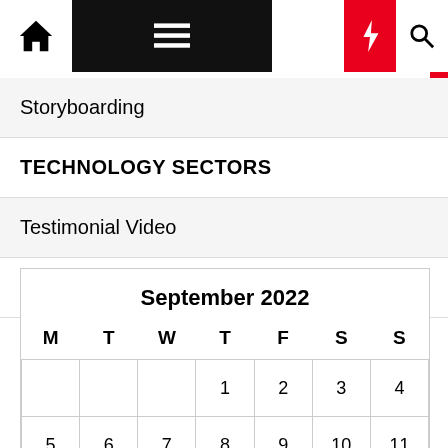Navigation bar with home, menu, moon, lightning, search icons
Storyboarding
TECHNOLOGY SECTORS
Testimonial Video
The Environment
| M | T | W | T | F | S | S |
| --- | --- | --- | --- | --- | --- | --- |
|  |  |  | 1 | 2 | 3 | 4 |
| 5 | 6 | 7 | 8 | 9 | 10 | 11 |
| 12 | 13 | 14 | 15 | 16 | 17 | 18 |